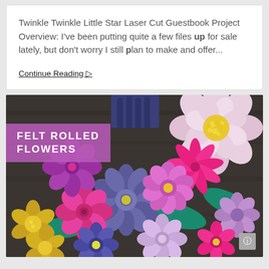Twinkle Twinkle Little Star Laser Cut Guestbook Project Overview: I've been putting quite a few files up for sale lately, but don't worry I still plan to make and offer...
Continue Reading ▷
[Figure (photo): Photo of colorful felt rolled flowers in shades of pink, purple, blue, teal, and yellow arranged on a dark background. A pink/purple banner overlay reads 'FELT ROLLED FLOWERS' in white uppercase text.]